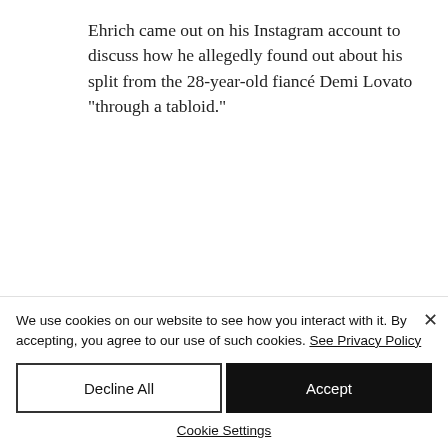Ehrich came out on his Instagram account to discuss how he allegedly found out about his split from the 28-year-old fiancé Demi Lovato “through a tabloid.”
“Imagine finding out about the status of your relationship through a tabloid. While
We use cookies on our website to see how you interact with it. By accepting, you agree to our use of such cookies. See Privacy Policy
Decline All
Accept
Cookie Settings